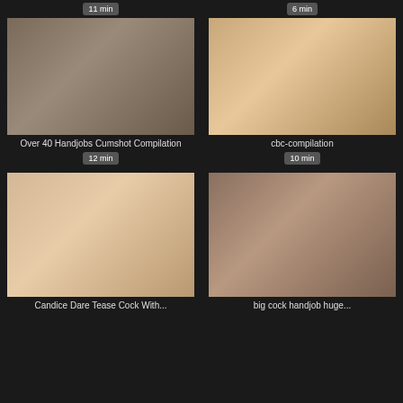[Figure (screenshot): Thumbnail for 'Over 40 Handjobs Cumshot Compilation', duration 11 min badge at top, 12 min badge below title]
Over 40 Handjobs Cumshot Compilation
[Figure (screenshot): Thumbnail for 'cbc-compilation', duration 6 min badge at top, 10 min badge below title]
cbc-compilation
[Figure (screenshot): Thumbnail for 'Candice Dare Tease Cock With...' video]
Candice Dare Tease Cock With
[Figure (screenshot): Thumbnail for 'big cock handjob huge...' video]
big cock handjob huge